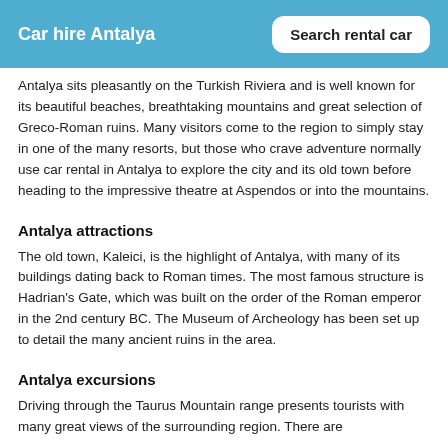Car hire Antalya
Antalya sits pleasantly on the Turkish Riviera and is well known for its beautiful beaches, breathtaking mountains and great selection of Greco-Roman ruins. Many visitors come to the region to simply stay in one of the many resorts, but those who crave adventure normally use car rental in Antalya to explore the city and its old town before heading to the impressive theatre at Aspendos or into the mountains.
Antalya attractions
The old town, Kaleici, is the highlight of Antalya, with many of its buildings dating back to Roman times. The most famous structure is Hadrian's Gate, which was built on the order of the Roman emperor in the 2nd century BC. The Museum of Archeology has been set up to detail the many ancient ruins in the area.
Antalya excursions
Driving through the Taurus Mountain range presents tourists with many great views of the surrounding region. There are